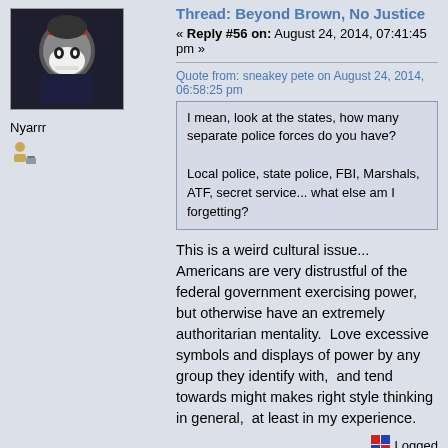[Figure (photo): Forum user avatar showing a stylized dark cartoon character with a skull-like face and red accents against a dark background]
Nyarrr
[Figure (illustration): Small forum rank/status icon showing a person sitting at a desk]
Thread: Beyond Brown, No Justice
« Reply #56 on: August 24, 2014, 07:41:45 pm »
Quote from: sneakey pete on August 24, 2014, 06:58:25 pm
I mean, look at the states, how many separate police forces do you have?

Local police, state police, FBI, Marshals, ATF, secret service... what else am I forgetting?
This is a weird cultural issue... Americans are very distrustful of the federal government exercising power,  but otherwise have an extremely authoritarian mentality.  Love excessive symbols and displays of power by any group they identify with,  and tend towards might makes right style thinking in general,  at least in my experience.
Logged